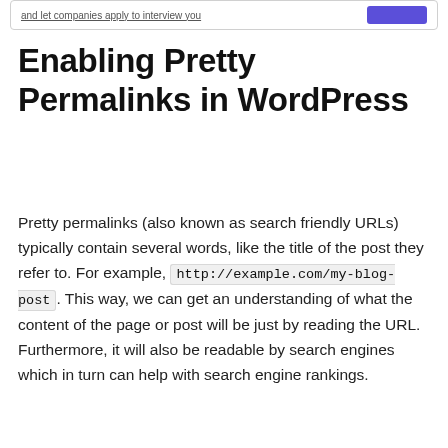[Figure (screenshot): Top banner with text 'and let companies apply to interview you' and a purple button on the right]
Enabling Pretty Permalinks in WordPress
Pretty permalinks (also known as search friendly URLs) typically contain several words, like the title of the post they refer to. For example, http://example.com/my-blog-post. This way, we can get an understanding of what the content of the page or post will be just by reading the URL. Furthermore, it will also be readable by search engines which in turn can help with search engine rankings.